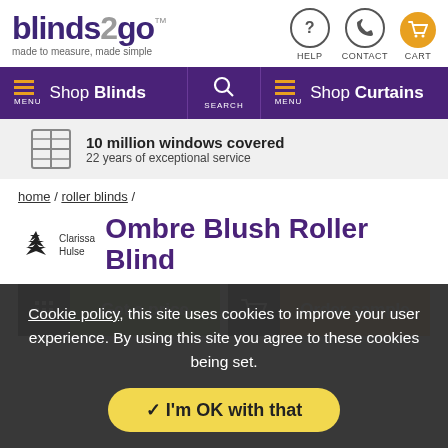[Figure (logo): blinds2go logo with tagline 'made to measure, made simple']
[Figure (infographic): Navigation header icons: HELP (question mark), CONTACT (phone), CART (shopping cart in orange circle)]
[Figure (infographic): Purple navigation bar with hamburger menu icons, Shop Blinds, Search, Shop Curtains]
10 million windows covered
22 years of exceptional service
home / roller blinds /
Ombre Blush Roller Blind
[Figure (infographic): Buttons: Get a price (green) and Order sample (orange)]
Cookie policy, this site uses cookies to improve your user experience. By using this site you agree to these cookies being set.
I'm OK with that